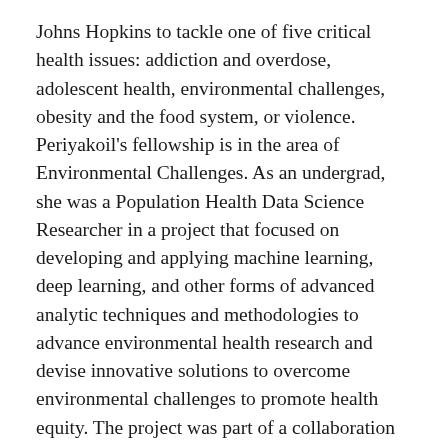Johns Hopkins to tackle one of five critical health issues: addiction and overdose, adolescent health, environmental challenges, obesity and the food system, or violence. Periyakoil's fellowship is in the area of Environmental Challenges. As an undergrad, she was a Population Health Data Science Researcher in a project that focused on developing and applying machine learning, deep learning, and other forms of advanced analytic techniques and methodologies to advance environmental health research and devise innovative solutions to overcome environmental challenges to promote health equity. The project was part of a collaboration between two Berkeley groups, the Research in Artificial Intelligence for Sustainable Energy (RAISE) Lab, which develops and integrates tele-health, sensors, analytics, and smart device technologies to lower health costs and improve outcomes, and the UC Berkeley School of Public Health's Bixby Center for Population, Health, and Sustainability, which studies how environmental exposures, like those resulting from climate change, impact the most vulnerable members of our community, such as children.